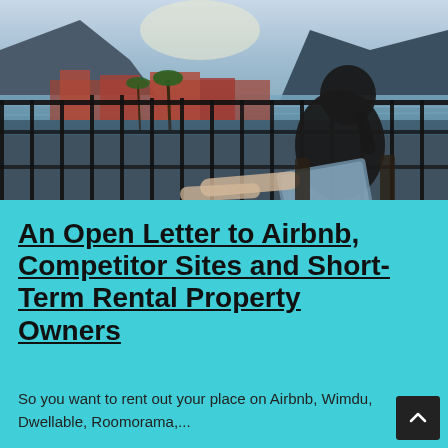[Figure (photo): Person sitting on a balcony with a laptop, overlooking a coastal bay with mountains, palm trees, and red-roofed buildings. Black railing visible in foreground.]
An Open Letter to Airbnb, Competitor Sites and Short-Term Rental Property Owners
So you want to rent out your place on Airbnb, Wimdu, Dwellable, Roomorama,...